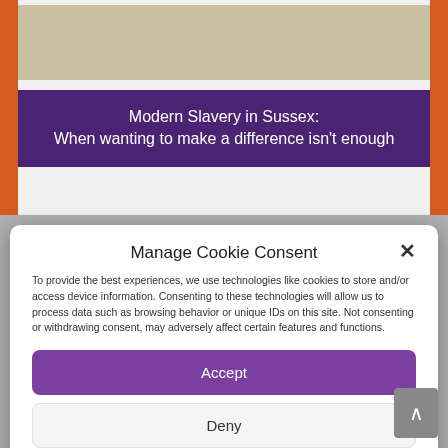[Figure (screenshot): Tan/beige box at top of background page]
Modern Slavery in Sussex:
When wanting to make a difference isn't enough
Manage Cookie Consent
To provide the best experiences, we use technologies like cookies to store and/or access device information. Consenting to these technologies will allow us to process data such as browsing behavior or unique IDs on this site. Not consenting or withdrawing consent, may adversely affect certain features and functions.
Accept
Deny
View preferences
Cookie Policy